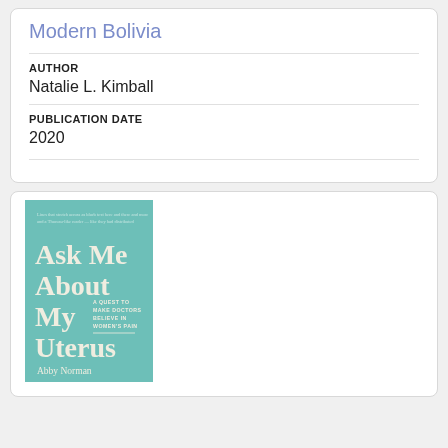Modern Bolivia
AUTHOR
Natalie L. Kimball
PUBLICATION DATE
2020
[Figure (photo): Book cover of 'Ask Me About My Uterus: A Quest to Make Doctors Believe in Women's Pain' by Abby Norman. Teal/green cover with large cream serif text.]